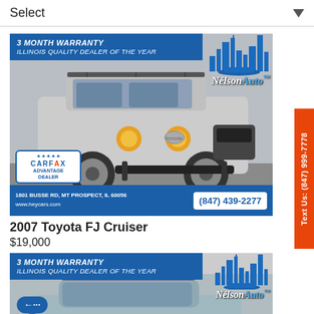Select
[Figure (photo): 2007 Toyota FJ Cruiser silver SUV with Nelson Auto dealer branding, CARFAX Advantage Dealer badge, address 1801 Busse Rd, Mt Prospect, IL 60056, www.heycars.com, phone (847) 439-2277, 3 month warranty banner]
2007 Toyota FJ Cruiser
$19,000
[Figure (photo): Partial view of second car listing with Nelson Auto branding and 3 month warranty banner, showing a blue/silver sedan]
Text Us: (847) 999-7778